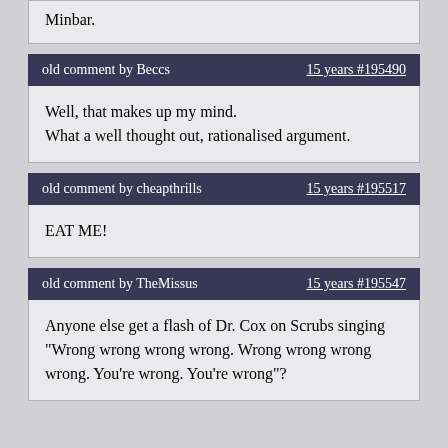Minbar.
old comment by Beccs   15 years #195490
Well, that makes up my mind.
What a well thought out, rationalised argument.
old comment by cheapthrills   15 years #195517
EAT ME!
old comment by TheMissus   15 years #195547
Anyone else get a flash of Dr. Cox on Scrubs singing "Wrong wrong wrong wrong. Wrong wrong wrong wrong. You're wrong. You're wrong"?